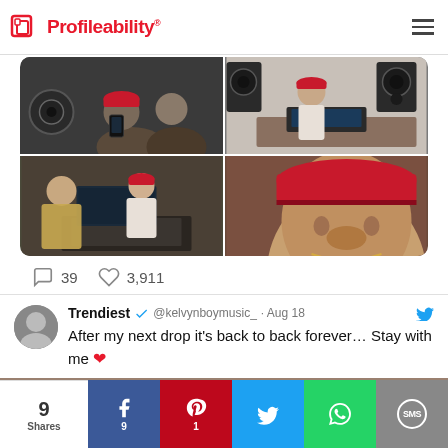Profileability
[Figure (photo): 2x2 grid of studio photos showing musicians recording in a studio]
39 comments  3,911 likes
Trendiest @kelvynboymusic_ · Aug 18
After my next drop it's back to back forever… Stay with me ❤
[Figure (photo): Partial preview of another tweet image showing studio equipment]
9 Shares | Facebook 9 | Pinterest 1 | Twitter | WhatsApp | SMS